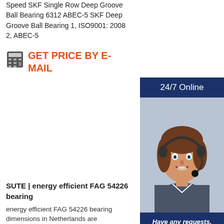Speed SKF Single Row Deep Groove Ball Bearing 6312 ABEC-5 SKF Deep Groove Ball Bearing 1, ISO9001: 2008 2, ABEC-5
GET PRICE BY E-MAIL
[Figure (photo): 24/7 Online customer support representative - woman with headset smiling, with 'Have any requests, click here.' text and 'Quotation' button]
SUTE | energy efficient FAG 54226 bearing
energy efficient FAG 54226 bearing dimensions in Netherlands are